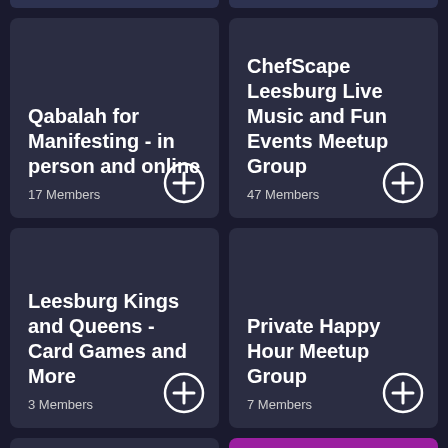[Figure (screenshot): Top strip of two group cards partially visible at top]
Qabalah for Manifesting - in person and online
17 Members
ChefScape Leesburg Live Music and Fun Events Meetup Group
47 Members
Leesburg Kings and Queens - Card Games and More
3 Members
Private Happy Hour Meetup Group
7 Members
[Figure (screenshot): Bottom strip of two group cards partially visible at bottom]